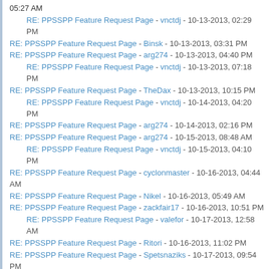05:27 AM
RE: PPSSPP Feature Request Page - vnctdj - 10-13-2013, 02:29 PM
RE: PPSSPP Feature Request Page - Binsk - 10-13-2013, 03:31 PM
RE: PPSSPP Feature Request Page - arg274 - 10-13-2013, 04:40 PM
RE: PPSSPP Feature Request Page - vnctdj - 10-13-2013, 07:18 PM
RE: PPSSPP Feature Request Page - TheDax - 10-13-2013, 10:15 PM
RE: PPSSPP Feature Request Page - vnctdj - 10-14-2013, 04:20 PM
RE: PPSSPP Feature Request Page - arg274 - 10-14-2013, 02:16 PM
RE: PPSSPP Feature Request Page - arg274 - 10-15-2013, 08:48 AM
RE: PPSSPP Feature Request Page - vnctdj - 10-15-2013, 04:10 PM
RE: PPSSPP Feature Request Page - cyclonmaster - 10-16-2013, 04:44 AM
RE: PPSSPP Feature Request Page - Nikel - 10-16-2013, 05:49 AM
RE: PPSSPP Feature Request Page - zackfair17 - 10-16-2013, 10:51 PM
RE: PPSSPP Feature Request Page - valefor - 10-17-2013, 12:58 AM
RE: PPSSPP Feature Request Page - Ritori - 10-16-2013, 11:02 PM
RE: PPSSPP Feature Request Page - Spetsnaziks - 10-17-2013, 09:54 PM
RE: PPSSPP Feature Request Page - Shina - 10-18-2013, 01:24 AM
RE: PPSSPP Feature Request Page - arg274 - 10-18-2013, 06:13 AM
RE: PPSSPP Feature Request Page - Shina - 10-21-2013, 02:48 AM